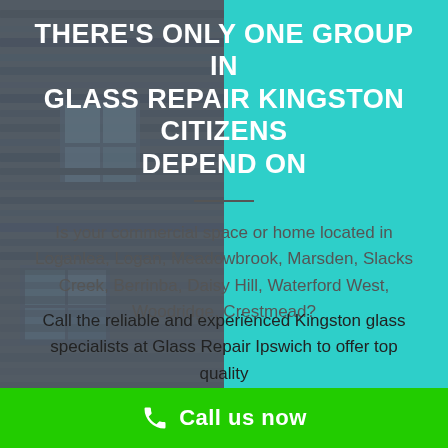[Figure (infographic): Split background: left half is a dark grey photo of a building with wooden slat wall and windows, right half is solid teal/cyan color. Bottom bar is bright green.]
THERE'S ONLY ONE GROUP IN GLASS REPAIR KINGSTON CITIZENS DEPEND ON
Is your commercial space or home located in Loganlea, Logan, Meadowbrook, Marsden, Slacks Creek, Berrinba, Daisy Hill, Waterford West, Woodridge, Crestmead?
Call the reliable and experienced Kingston glass specialists at Glass Repair Ipswich to offer top quality handiwork that meets all your glass demands.
Call us now